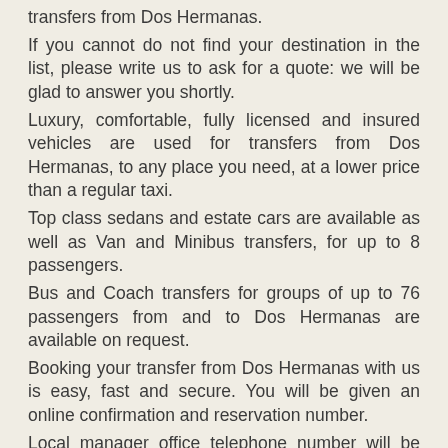transfers from Dos Hermanas.
If you cannot do not find your destination in the list, please write us to ask for a quote: we will be glad to answer you shortly.
Luxury, comfortable, fully licensed and insured vehicles are used for transfers from Dos Hermanas, to any place you need, at a lower price than a regular taxi.
Top class sedans and estate cars are available as well as Van and Minibus transfers, for up to 8 passengers.
Bus and Coach transfers for groups of up to 76 passengers from and to Dos Hermanas are available on request.
Booking your transfer from Dos Hermanas with us is easy, fast and secure. You will be given an online confirmation and reservation number.
Local manager office telephone number will be also provided for any needs.
Dos door to door transfers